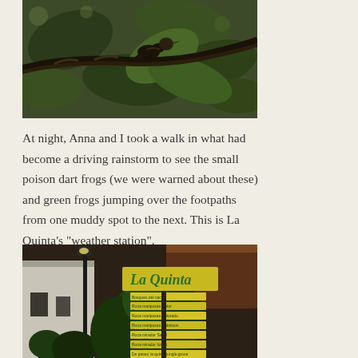[Figure (photo): A bird perched on a dark mossy tree branch surrounded by large green leaves in a rainforest setting]
At night, Anna and I took a walk in what had become a driving rainstorm to see the small poison dart frogs (we were warned about these) and green frogs jumping over the footpaths from one muddy spot to the next. This is La Quinta’s “weather station”.
[Figure (photo): A La Quinta sign with a yellow background and green lettering, surrounded by tropical plants, with multiple directional signs below it pointing to various destinations]